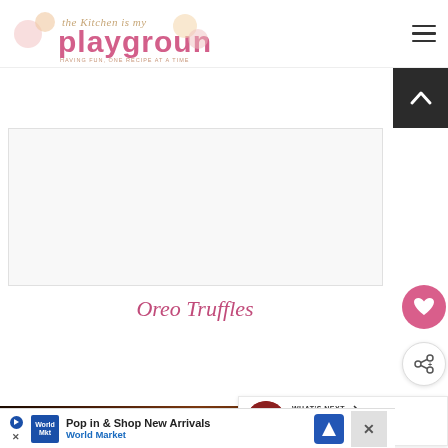The Kitchen is My Playground — HAVING FUN, ONE RECIPE AT A TIME
[Figure (screenshot): Advertisement banner placeholder (white/light gray area)]
Oreo Truffles
[Figure (photo): Chocolate truffle image with bold white text 'Chocolate' on dark brown background]
WHAT'S NEXT → Valentine Chocolate...
Pop in & Shop New Arrivals — World Market (advertisement)